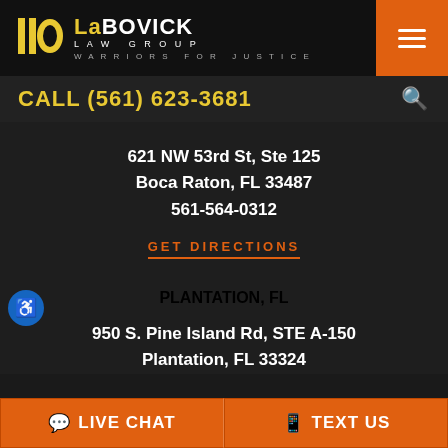[Figure (logo): LaBovick Law Group logo — yellow/gold geometric bar icon with LaBovick Law Group text in white and yellow, tagline WARRIORS FOR JUSTICE, on black background]
CALL (561) 623-3681
621 NW 53rd St, Ste 125
Boca Raton, FL 33487
561-564-0312
GET DIRECTIONS
PLANTATION, FL
950 S. Pine Island Rd, STE A-150
Plantation, FL 33324
LIVE CHAT
TEXT US